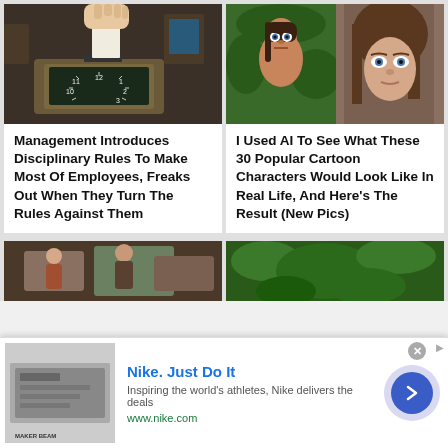[Figure (photo): Hand inserting a card into a time clock machine in an office setting]
Management Introduces Disciplinary Rules To Make Most Of Employees, Freaks Out When They Turn The Rules Against Them
[Figure (photo): Side-by-side comparison of animated Tarzan cartoon character and a real-life lookalike with brown hair]
I Used AI To See What These 30 Popular Cartoon Characters Would Look Like In Real Life, And Here's The Result (New Pics)
[Figure (photo): Partial view of bottom-left article image showing people]
[Figure (photo): Partial view of bottom-right article image showing foliage/trees]
Nike. Just Do It
Inspiring the world's athletes, Nike delivers the deals
www.nike.com